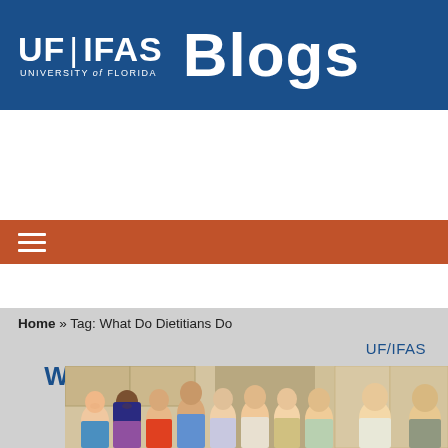UF|IFAS UNIVERSITY of FLORIDA Blogs
[Figure (logo): UF/IFAS Blogs header logo with blue background, white UF|IFAS text and UNIVERSITY of FLORIDA subtitle, and large white Blogs text]
[Figure (other): Orange navigation bar with hamburger menu icon]
UF/IFAS WHAT'S HAPPENING AROUND FLORIDA
Home » Tag: What Do Dietitians Do
[Figure (photo): Group photo of diverse students smiling in what appears to be a kitchen or lab setting]